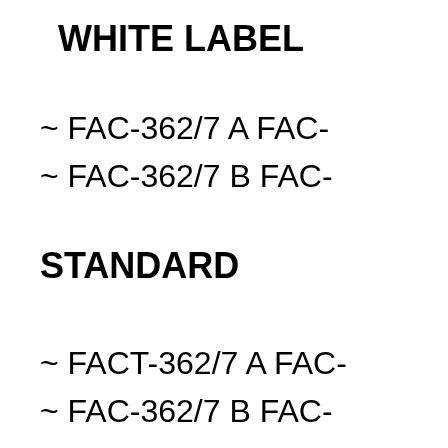WHITE LABEL
~ FAC-362/7 A FAC-
~ FAC-362/7 B FAC-
STANDARD
~ FACT-362/7 A FAC-
~ FAC-362/7 B FAC-